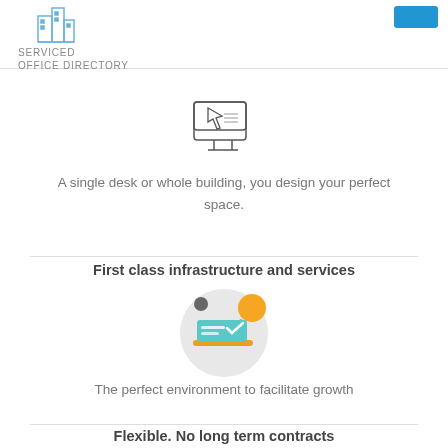[Figure (logo): Serviced Office Directory logo with building icon in blue and grey text]
[Figure (illustration): Line art icon of a desk/printer/office equipment]
A single desk or whole building, you design your perfect space.
First class infrastructure and services
[Figure (illustration): Colorful icon of a laptop/computer with gears and circles, on a light grey circular background]
The perfect environment to facilitate growth
Flexible. No long term contracts